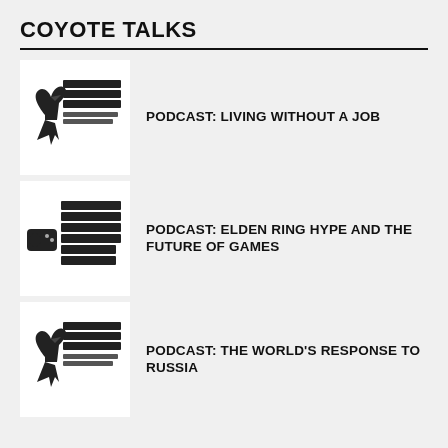COYOTE TALKS
PODCAST: LIVING WITHOUT A JOB
PODCAST: ELDEN RING HYPE AND THE FUTURE OF GAMES
PODCAST: THE WORLD'S RESPONSE TO RUSSIA